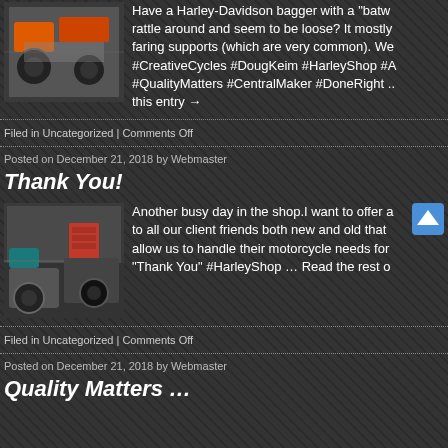Have a Harley-Davidson bagger with a "batw... rattle around and seem to be loose? It mostly... faring supports (which are very common). We... #CreativeCycles #DougKeim #HarleyShop #... #QualityMatters #CentralMaker #DoneRight ... this entry →
Filed in Uncategorized | Comments Off
Posted on December 21, 2018 by Webmaster
Thank You!
Another busy day in the shop.I want to offer a... to all our client friends both new and old that... allow us to handle their motorcycle needs for... "Thank You" #HarleyShop … Read the rest o
Filed in Uncategorized | Comments Off
Posted on December 21, 2018 by Webmaster
Quality Matters …